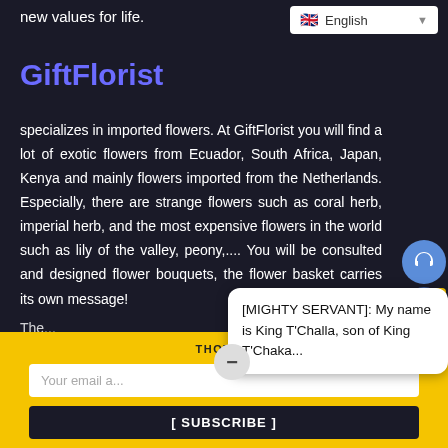new values for life.
[Figure (screenshot): Language selector dropdown showing English with UK flag]
GiftFlorist
specializes in imported flowers. At GiftFlorist you will find a lot of exotic flowers from Ecuador, South Africa, Japan, Kenya and mainly flowers imported from the Netherlands. Especially, there are strange flowers such as coral herb, imperial herb, and the most expensive flowers in the world such as lily of the valley, peony,.... You will be consulted and designed flower bouquets, the flower basket carries its own message!
[Figure (screenshot): Social media icons: headphones/support, Facebook, Twitter, WhatsApp]
[MIGHTY SERVANT]: My name is King T'Challa, son of King T'Chaka...
THOTP... Your email address
[ SUBSCRIBE ]